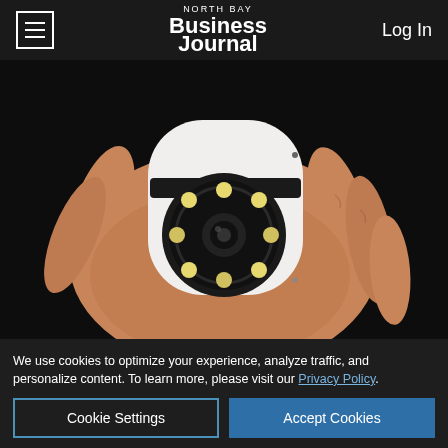NORTH BAY Business Journal   Log In
[Figure (photo): A hand holding a small white wireless security camera with LED ring around the lens, against a dark background.]
Here Are 12 Of The Coolest Gifts For Men In 2022
Gadget
Learn More
[Figure (infographic): Advertisement banner: COMMERCIAL REAL ESTATE LOANS — Redwood Credit Union. Equal Housing Lender.]
We use cookies to optimize your experience, analyze traffic, and personalize content. To learn more, please visit our Privacy Policy.
Cookie Settings
Accept Cookies